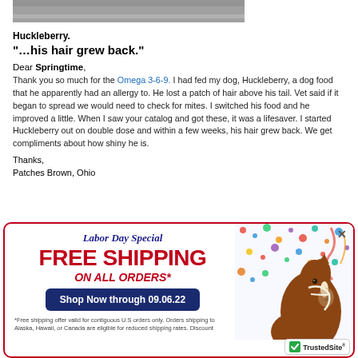[Figure (photo): Partial photo of a dog (Huckleberry), cropped at top]
Huckleberry.
"…his hair grew back."
Dear Springtime,
Thank you so much for the Omega 3-6-9. I had fed my dog, Huckleberry, a dog food that he apparently had an allergy to. He lost a patch of hair above his tail. Vet said if it began to spread we would need to check for mites. I switched his food and he improved a little. When I saw your catalog and got these, it was a lifesaver. I started Huckleberry out on double dose and within a few weeks, his hair grew back. We get compliments about how shiny he is.
Thanks,
Patches Brown, Ohio
[Figure (infographic): Labor Day Special popup banner with FREE SHIPPING ON ALL ORDERS*, Shop Now through 09.06.22 button, horse photo with confetti background, TrustedSite badge, footnote about free shipping offer]